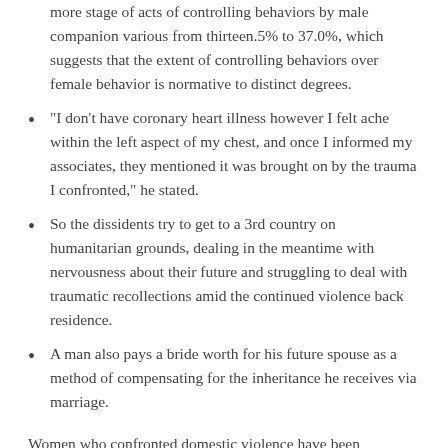more stage of acts of controlling behaviors by male companion various from thirteen.5% to 37.0%, which suggests that the extent of controlling behaviors over female behavior is normative to distinct degrees.
“I don’t have coronary heart illness however I felt ache within the left aspect of my chest, and once I informed my associates, they mentioned it was brought on by the trauma I confronted,” he stated.
So the dissidents try to get to a 3rd country on humanitarian grounds, dealing in the meantime with nervousness about their future and struggling to deal with traumatic recollections amid the continued violence back residence.
A man also pays a bride worth for his future spouse as a method of compensating for the inheritance he receives via marriage.
Women who confronted domestic violence have been significantly extra prone to have undergone controlling behavior by the companion than the women who had not